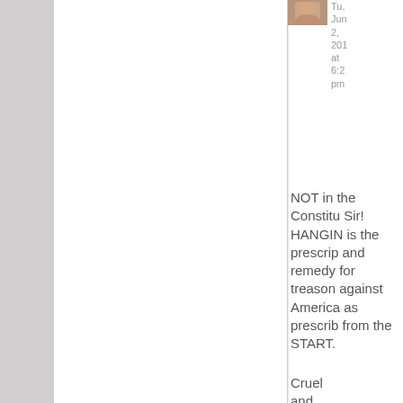[Figure (photo): Small avatar thumbnail photo in top right area]
Tu, Jun 2, 201 at 6:2 pm
NOT in the Constitu Sir! HANGIN is the prescrip and remedy for treason against America as prescrib from the START.
Cruel and